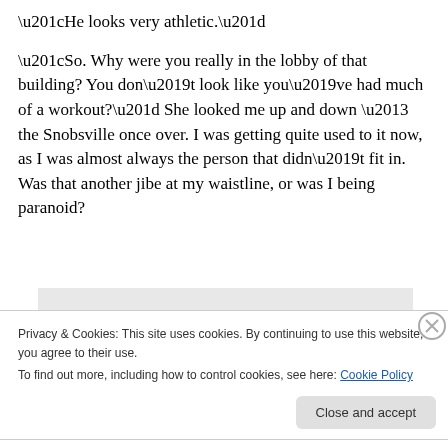“He looks very athletic.”
“So. Why were you really in the lobby of that building? You don’t look like you’ve had much of a workout?” She looked me up and down – the Snobsville once over. I was getting quite used to it now, as I was almost always the person that didn’t fit in. Was that another jibe at my waistline, or was I being paranoid?
[Figure (screenshot): WordPress mobile app advertisement banner showing 'the go.' text and 'GET THE APP' call to action with WordPress logo]
Privacy & Cookies: This site uses cookies. By continuing to use this website, you agree to their use.
To find out more, including how to control cookies, see here: Cookie Policy